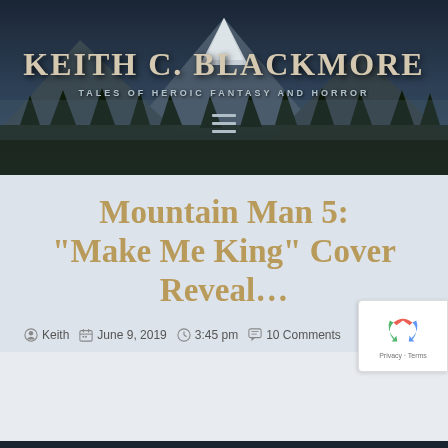KEITH C. BLACKMORE — TALES OF HEROIC FANTASY AND HORROR
Mountain Man 5: “Make Me King” Cover Reveal…
Keith   June 9, 2019   3:45 pm   10 Comments
[Figure (logo): reCAPTCHA badge with Google logo and Privacy/Terms links]